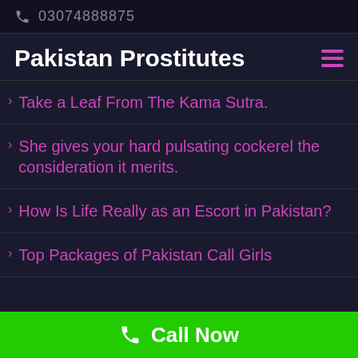03074888875
Pakistan Prostitutes
Take a Leaf From The Kama Sutra.
She gives your hard pulsating cockerel the consideration it merits.
How Is Life Really as an Escort in Pakistan?
Top Packages of Pakistan Call Girls
Call Now